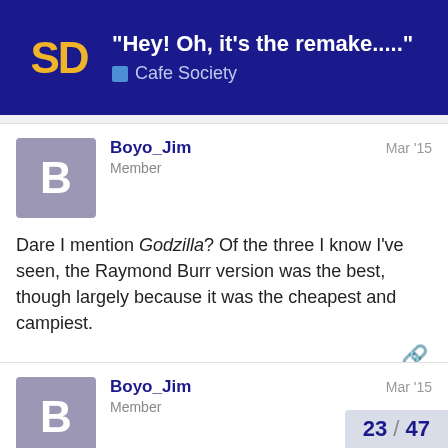"Hey! Oh, it's the remake....." — Cafe Society
Boyo_Jim Member Mar '15
Dare I mention Godzilla? Of the three I know I've seen, the Raymond Burr version was the best, though largely because it was the cheapest and campiest.
Boyo_Jim Member Mar '15
The Dr Doolittle remake
The Flubber remake.
Eddie Murphy has specialized in shitty remakes for a while now
23 / 47